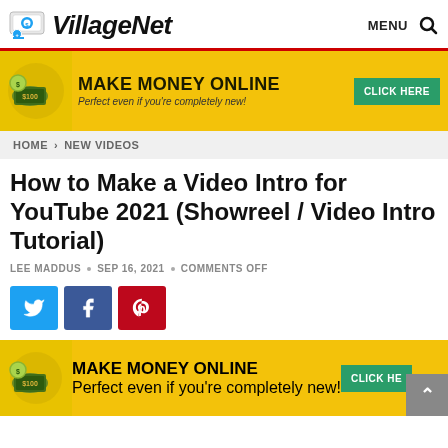VillageNet — MENU 🔍
[Figure (infographic): Make Money Online advertisement banner with yellow background, cash graphics, and green CLICK HERE button. Text: MAKE MONEY ONLINE — Perfect even if you're completely new!]
HOME > NEW VIDEOS
How to Make a Video Intro for YouTube 2021 (Showreel / Video Intro Tutorial)
LEE MADDUS • SEP 16, 2021 • COMMENTS OFF
[Figure (infographic): Social share buttons: Twitter (blue), Facebook (dark blue), Pinterest (red)]
[Figure (infographic): Make Money Online advertisement banner (bottom) with yellow background, cash graphics, and green CLICK HE... button. Text: MAKE MONEY ONLINE — Perfect even if you're completely new! Gray scroll-to-top button at bottom right.]